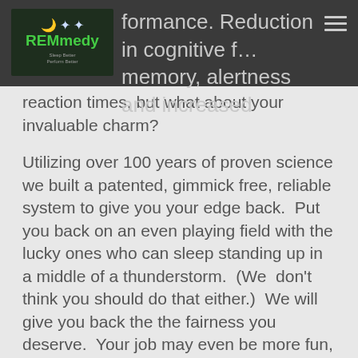p…formance. Reduction in cognitive f… memory, alertness and increased reaction times, but what about your invaluable charm?
Utilizing over 100 years of proven science we built a patented, gimmick free, reliable system to give you your edge back.  Put you back on an even playing field with the lucky ones who can sleep standing up in a middle of a thunderstorm.  (We  don't think you should do that either.)  We will give you back the the fairness you deserve.  Your job may even be more fun, even if it starts at 11 pm.